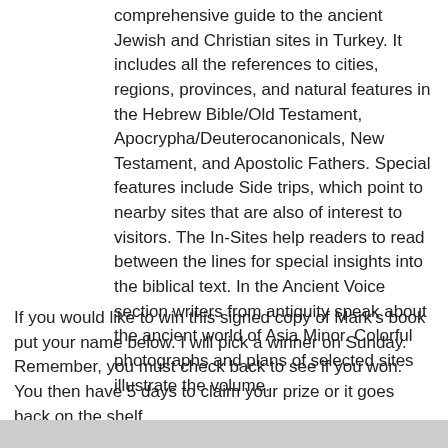comprehensive guide to the ancient Jewish and Christian sites in Turkey. It includes all the references to cities, regions, provinces, and natural features in the Hebrew Bible/Old Testament, Apocrypha/Deuterocanonicals, New Testament, and Apostolic Fathers. Special features include Side trips, which point to nearby sites that are also of interest to visitors. The In-Sites help readers to read between the lines for special insights into the biblical text. In the Ancient Voice section writers from antiquity speak about the ancient world of Asia Minor. Colorful photographs and plans of selected sites illustrate the volume.
If you would like to win this signed copy of Mark's book put your name below. I will pick a winner on Sunday. Remember, you must check back to see if you won. You then have 5 days to claim your prize or it goes back on the shelf.